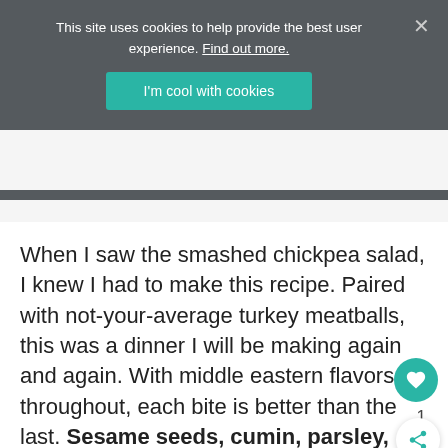This site uses cookies to help provide the best user experience. Find out more.
I'm cool with cookies
When I saw the smashed chickpea salad, I knew I had to make this recipe. Paired with not-your-average turkey meatballs, this was a dinner I will be making again and again. With middle eastern flavors throughout, each bite is better than the last. Sesame seeds, cumin, parsley, olives, garlic – so many yummy ingredients!